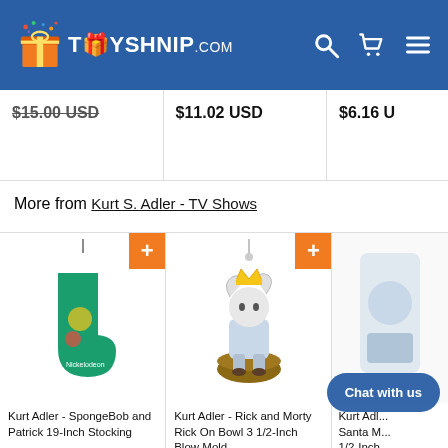TOYSHNIP.COM
$15.00 USD
$11.02 USD
$6.16 U...
More from Kurt S. Adler - TV Shows
[Figure (photo): SpongeBob and Patrick Christmas stocking, green with white cuff]
Kurt Adler - SpongeBob and Patrick 19-Inch Stocking
[Figure (photo): Rick and Morty - Rick On Bowl 3 1/2-Inch Blow Mold ornament]
Kurt Adler - Rick and Morty Rick On Bowl 3 1/2-Inch Blow Mold
Kurt Adl... Santa M... 1/2-Inch...
Chat with us